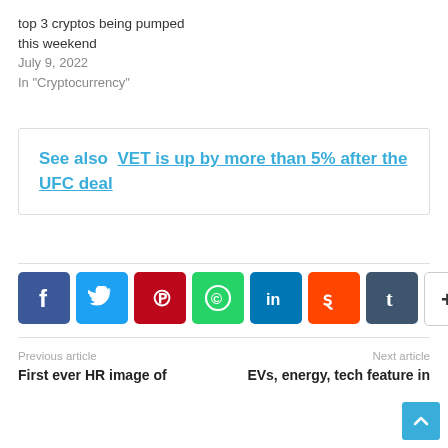top 3 cryptos being pumped this weekend
July 9, 2022
In "Cryptocurrency"
See also  VET is up by more than 5% after the UFC deal
[Figure (infographic): Social media sharing buttons: Facebook, Twitter, Pinterest, WhatsApp, LinkedIn, Reddit, Tumblr, More (+)]
Previous article
First ever HR image of
Next article
EVs, energy, tech feature in